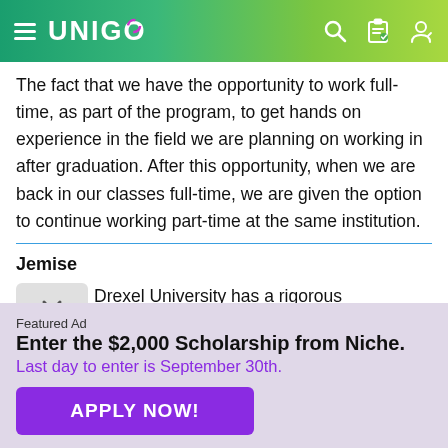UNIGO
The fact that we have the opportunity to work full-time, as part of the program, to get hands on experience in the field we are planning on working in after graduation. After this opportunity, when we are back in our classes full-time, we are given the option to continue working part-time at the same institution.
Jemise
Drexel University has a rigorous curriculum. Unlike most universities and colleges, Drexel gets their curriculum in
Featured Ad
Enter the $2,000 Scholarship from Niche.
Last day to enter is September 30th.
APPLY NOW!